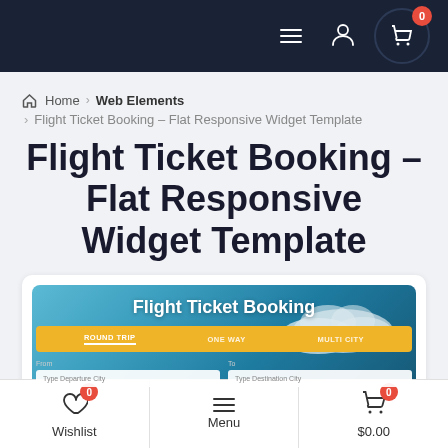Navigation bar with hamburger menu, user icon, and cart with badge 0
Home > Web Elements > Flight Ticket Booking – Flat Responsive Widget Template
Flight Ticket Booking – Flat Responsive Widget Template
[Figure (screenshot): Screenshot of a Flight Ticket Booking widget showing a sky/clouds background, Flight Ticket Booking heading, ROUND TRIP / ONE WAY / MULTI-CITY tabs, and form fields for From and To cities]
Wishlist 0 | Menu | $0.00 0